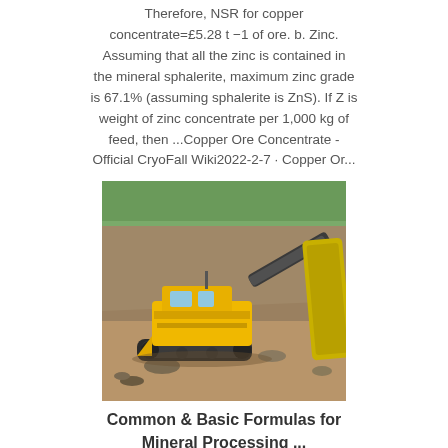Therefore, NSR for copper concentrate=£5.28 t −1 of ore. b. Zinc. Assuming that all the zinc is contained in the mineral sphalerite, maximum zinc grade is 67.1% (assuming sphalerite is ZnS). If Z is weight of zinc concentrate per 1,000 kg of feed, then ...Copper Ore Concentrate - Official CryoFall Wiki2022-2-7 · Copper Or...
[Figure (photo): A yellow and black mobile mining/crushing machine on a rocky excavation site with another industrial machine visible in the background.]
Common & Basic Formulas for Mineral Processing ...
2016-3-20 · In concentrating an ore containing these minerals it is usually desirable to recover the lead and the copper